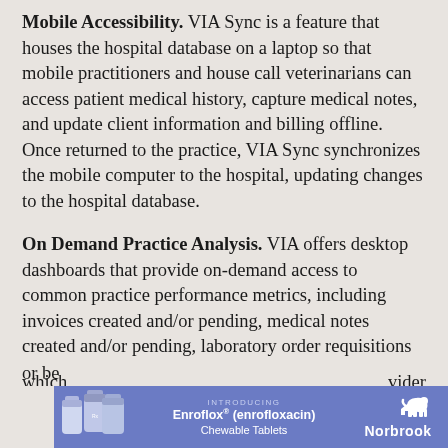Mobile Accessibility. VIA Sync is a feature that houses the hospital database on a laptop so that mobile practitioners and house call veterinarians can access patient medical history, capture medical notes, and update client information and billing offline. Once returned to the practice, VIA Sync synchronizes the mobile computer to the hospital, updating changes to the hospital database.
On Demand Practice Analysis. VIA offers desktop dashboards that provide on-demand access to common practice performance metrics, including invoices created and/or pending, medical notes created and/or pending, laboratory order requisitions and results, and client recall reminders. Dashboard views can display total practice metrics or be... which... provider
[Figure (infographic): Advertisement banner for Norbrook Enroflox (enrofloxacin) Chewable Tablets showing medicine bottles on blue background with text 'INTRODUCING Enroflox (enrofloxacin) Chewable Tablets' and Norbrook logo]